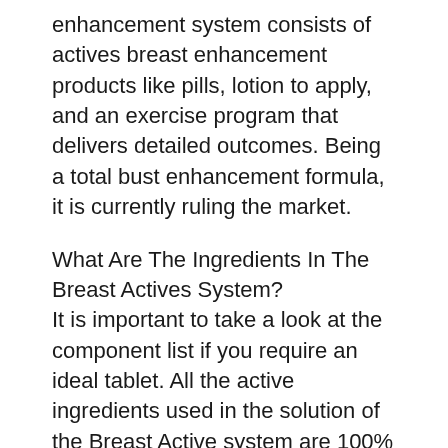enhancement system consists of actives breast enhancement products like pills, lotion to apply, and an exercise program that delivers detailed outcomes. Being a total bust enhancement formula, it is currently ruling the market.
What Are The Ingredients In The Breast Actives System?
It is important to take a look at the component list if you require an ideal tablet. All the active ingredients used in the solution of the Breast Active system are 100% all-natural and reliable.
Active ingredients in Tablets are
Vitamin E– This vitamin is proven to be beneficial for the mammary gland and